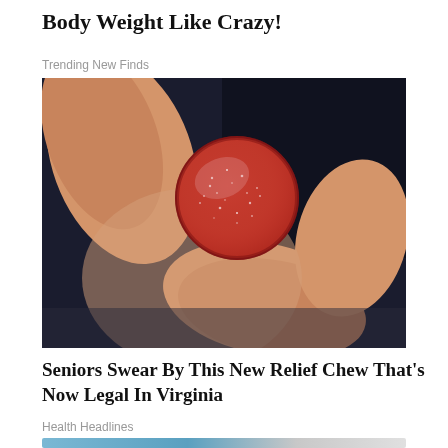Body Weight Like Crazy!
Trending New Finds
[Figure (photo): A hand holding a red sugary gummy chew against a dark background]
Seniors Swear By This New Relief Chew That's Now Legal In Virginia
Health Headlines